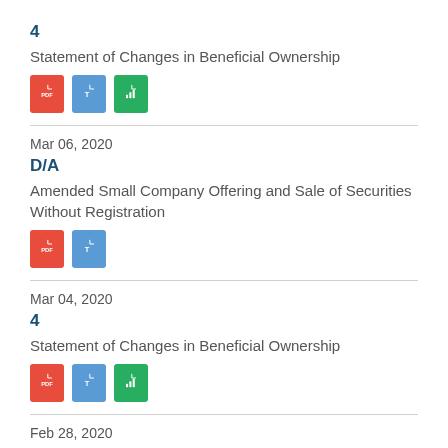4
Statement of Changes in Beneficial Ownership
[Figure (other): PDF, Text, and Chart file type icons]
Mar 06, 2020
D/A
Amended Small Company Offering and Sale of Securities Without Registration
[Figure (other): PDF and Text file type icons]
Mar 04, 2020
4
Statement of Changes in Beneficial Ownership
[Figure (other): PDF, Text, and Chart file type icons]
Feb 28, 2020
3